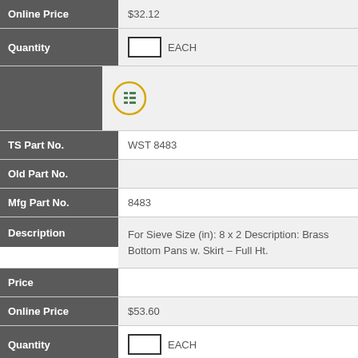| Field | Value |
| --- | --- |
| Online Price | $32.12 |
| Quantity | EACH |
| [icon] |  |
| TS Part No. | WST 8483 |
| Old Part No. |  |
| Mfg Part No. | 8483 |
| Description | For Sieve Size (in): 8 x 2 Description: Brass Bottom Pans w. Skirt – Full Ht. |
| Price |  |
| Online Price | $53.60 |
| Quantity | EACH |
| [icon] |  |
| TS Part No. | WST 8484 |
| Old Part No. | 8484 |
| Mfg Part No. | 8484 |